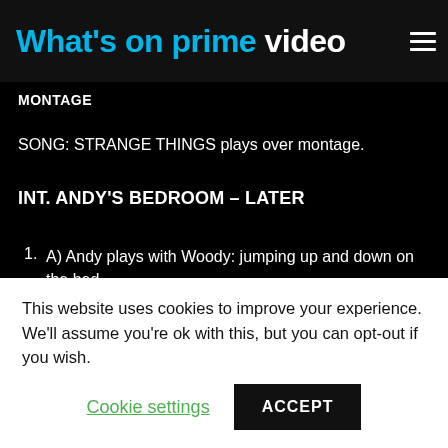What's on prime video
MONTAGE
SONG: STRANGE THINGS plays over montage.
INT. ANDY'S BEDROOM – LATER
1. A) Andy plays with Woody: jumping up and down on the bed,
This website uses cookies to improve your experience. We'll assume you're ok with this, but you can opt-out if you wish.
Cookie settings   ACCEPT